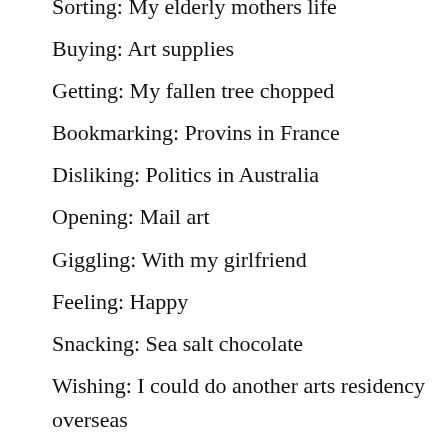Sorting: My elderly mothers life
Buying: Art supplies
Getting: My fallen tree chopped
Bookmarking: Provins in France
Disliking: Politics in Australia
Opening: Mail art
Giggling: With my girlfriend
Feeling: Happy
Snacking: Sea salt chocolate
Wishing: I could do another arts residency overseas
Helping: My mum sort out her legal stuff